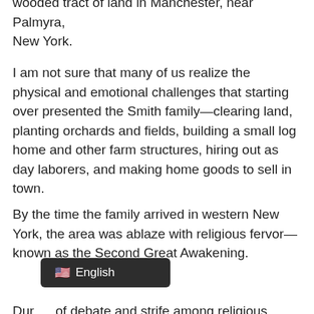wooded tract of land in Manchester, near Palmyra, New York.
I am not sure that many of us realize the physical and emotional challenges that starting over presented the Smith family—clearing land, planting orchards and fields, building a small log home and other farm structures, hiring out as day laborers, and making home goods to sell in town.
By the time the family arrived in western New York, the area was ablaze with religious fervor—known as the Second Great Awakening.
During a period of debate and strife among religious pa... experienced a wondrous vision, know...